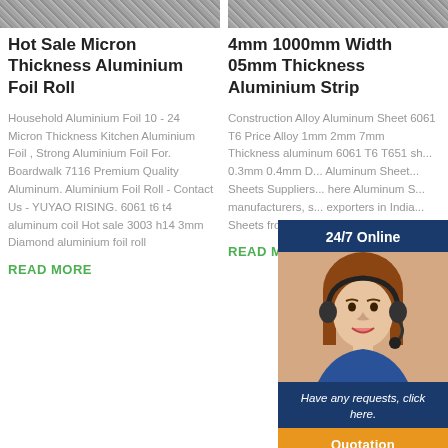[Figure (photo): Metallic/aluminium textured surface strip image on left]
[Figure (photo): Metallic/aluminium textured surface strip image on right]
Hot Sale Micron Thickness Aluminium Foil Roll
Household Aluminium Foil 10 - 24 Micron Thickness Kitchen Aluminium Foil , Strong Aluminium Foil For. Boardwalk 7116 Premium Quality Aluminum. Aluminium Foil Roll - Contact Us - YUYAO RISING. 6061 t6 t4 aluminum coil Hot sale 3003 h14 3mm Diamond aluminium foil roll
READ MORE
4mm 1000mm Width 05mm Thickness Aluminium Strip
Construction Alloy Aluminum Sheet 6061 T6 Price Alloy 1mm 2mm 7mm Thickness aluminum 6061 T6 T651 sh... 0.3mm 0.4mm D... Aluminum Sheet... Sheets Suppliers... here Aluminum S... manufacturers, s... exporters in India... Sheets from Indi... Products Availab...
READ MORE
[Figure (photo): 24/7 Online chat widget with female customer service representative wearing headset, dark blue background, with 'Have any requests, click here.' message and orange Quotation button]